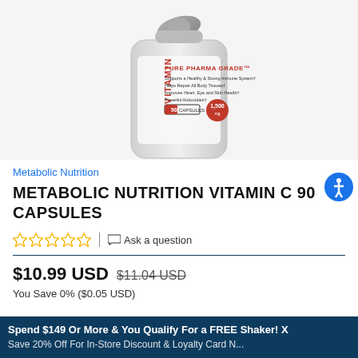[Figure (photo): Product photo of Metabolic Nutrition Vitamin C 90 Capsules bottle with Pure Pharma Grade label, showing capsule, 1500mg, Pure Pharmaceutical Grade branding]
Metabolic Nutrition
METABOLIC NUTRITION VITAMIN C 90 CAPSULES
☆☆☆☆☆  |  Ask a question
$10.99 USD  $11.04 USD
You Save 0% ($0.05 USD)
Spend $149 Or More & You Qualify For a FREE Shaker! X